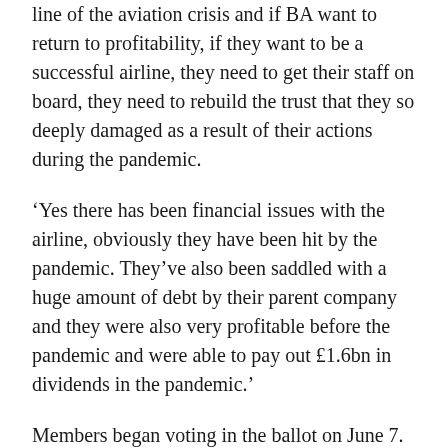line of the aviation crisis and if BA want to return to profitability, if they want to be a successful airline, they need to get their staff on board, they need to rebuild the trust that they so deeply damaged as a result of their actions during the pandemic.
‘Yes there has been financial issues with the airline, obviously they have been hit by the pandemic. They’ve also been saddled with a huge amount of debt by their parent company and they were also very profitable before the pandemic and were able to pay out £1.6bn in dividends in the pandemic.’
Members began voting in the ballot on June 7. The ballot closes later, with results also expected to be announced today. No date has yet been set for strike action.
It comes as, separately, Unite is continuing to ballot its members over potential industrial action for BA check-in